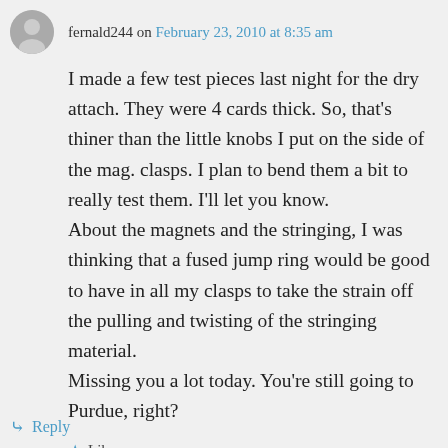fernald244 on February 23, 2010 at 8:35 am
I made a few test pieces last night for the dry attach. They were 4 cards thick. So, that's thiner than the little knobs I put on the side of the mag. clasps. I plan to bend them a bit to really test them. I'll let you know. About the magnets and the stringing, I was thinking that a fused jump ring would be good to have in all my clasps to take the strain off the pulling and twisting of the stringing material. Missing you a lot today. You're still going to Purdue, right?
Like
Reply